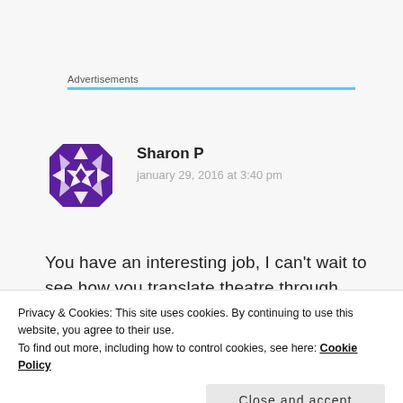Advertisements
[Figure (illustration): Purple geometric snowflake/star avatar icon for user Sharon P]
Sharon P
january 29, 2016 at 3:40 pm
You have an interesting job, I can't wait to see how you translate theatre through jewelry!
Privacy & Cookies: This site uses cookies. By continuing to use this website, you agree to their use.
To find out more, including how to control cookies, see here: Cookie Policy
Close and accept
Jeanette B